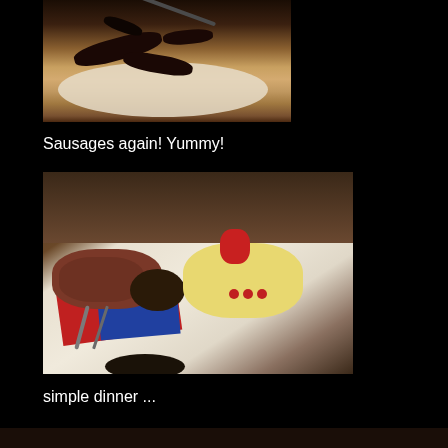[Figure (photo): Photo of dark grilled sausages on a white plate, close-up view against a warm yellowish background]
Sausages again! Yummy!
[Figure (photo): Photo of a restaurant table with white tablecloth, red and blue napkins, a plate of cold cuts and sausages on the left, a dark bowl in the center, and a decorative plate with cheese and tomatoes on the right]
simple dinner ...